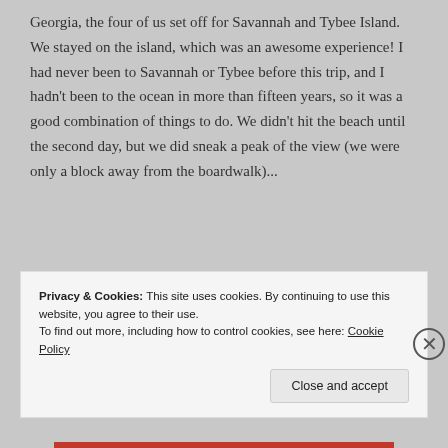Georgia, the four of us set off for Savannah and Tybee Island. We stayed on the island, which was an awesome experience! I had never been to Savannah or Tybee before this trip, and I hadn't been to the ocean in more than fifteen years, so it was a good combination of things to do. We didn't hit the beach until the second day, but we did sneak a peak of the view (we were only a block away from the boardwalk)...
Privacy & Cookies: This site uses cookies. By continuing to use this website, you agree to their use.
To find out more, including how to control cookies, see here: Cookie Policy
Close and accept